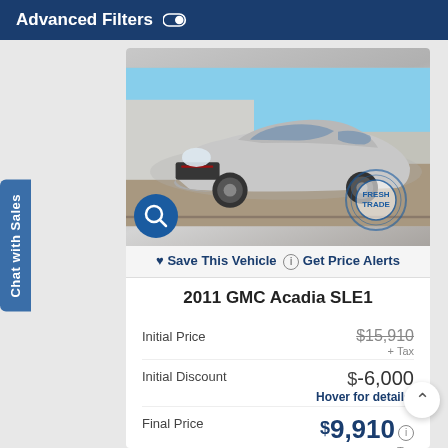Advanced Filters
[Figure (photo): Silver 2011 GMC Acadia SLE1 SUV parked in a lot, front 3/4 view. Has a 'FRESH TRADE' stamp overlay in the bottom right corner and a search magnifier icon in the bottom left.]
Save This Vehicle  Get Price Alerts
2011 GMC Acadia SLE1
|  |  |
| --- | --- |
| Initial Price | $15,910 + Tax |
| Initial Discount | $-6,000 Hover for details. |
| Final Price | $9,910 + Tax |